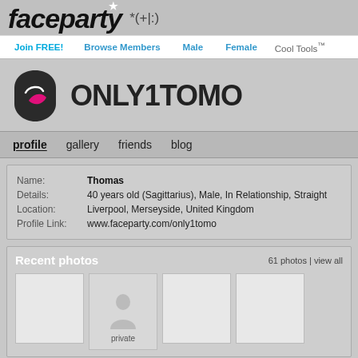[Figure (logo): Faceparty logo with star and emoticon *(+|:)]
Join FREE! | Browse Members | Male | Female | Cool Tools™
[Figure (logo): Dark shield/avatar icon for user ONLY1TOMO with pink accent]
ONLY1TOMO
profile   gallery   friends   blog
| Name: | Thomas |
| Details: | 40 years old (Sagittarius), Male, In Relationship, Straight |
| Location: | Liverpool, Merseyside, United Kingdom |
| Profile Link: | www.faceparty.com/only1tomo |
Recent photos
61 photos | view all
[Figure (photo): Recent photo thumbnail 1 - blank white]
[Figure (photo): Recent photo thumbnail 2 - private, shows silhouette with 'private' label]
[Figure (photo): Recent photo thumbnail 3 - blank white]
[Figure (photo): Recent photo thumbnail 4 - blank white]